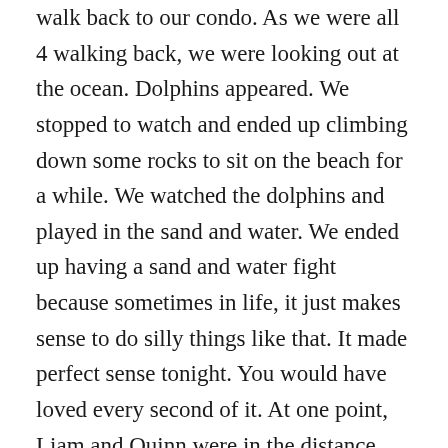walk back to our condo. As we were all 4 walking back, we were looking out at the ocean. Dolphins appeared. We stopped to watch and ended up climbing down some rocks to sit on the beach for a while. We watched the dolphins and played in the sand and water. We ended up having a sand and water fight because sometimes in life, it just makes sense to do silly things like that. It made perfect sense tonight. You would have loved every second of it. At one point, Liam and Quinn were in the distance, playing, just the two of them. It was surreal to watch and I felt as though I was having an out-of-body experience. I will never get used to it just being the two of them, without you injected in the middle. Nothing is right anymore and nothing makes sense. As we were walking back, I got a text from Danielle. It was if she had read my mind from a few minutes earlier as her wording was almost eerie. Something along the lines of how she wants you back so badly